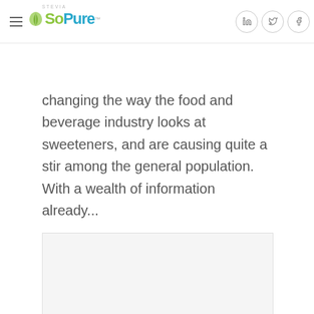SoPure Stevia
changing the way the food and beverage industry looks at sweeteners, and are causing quite a stir among the general population. With a wealth of information already...
[Figure (photo): White/light gray placeholder image box]
SoPure Stevia Product Rundown